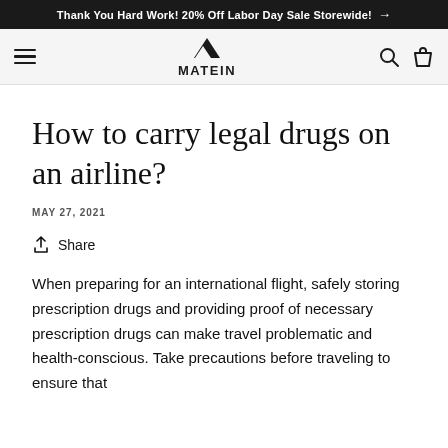Thank You Hard Work! 20% Off Labor Day Sale Storewide! →
[Figure (logo): Matein brand logo with mountain icon and MATEIN text, navigation bar with hamburger menu, search icon, and bag icon]
How to carry legal drugs on an airline?
MAY 27, 2021
Share
When preparing for an international flight, safely storing prescription drugs and providing proof of necessary prescription drugs can make travel problematic and health-conscious. Take precautions before traveling to ensure that